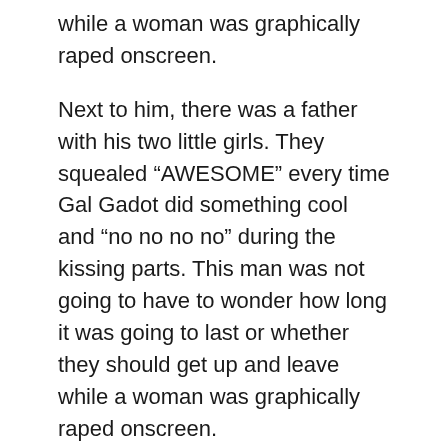while a woman was graphically raped onscreen.
Next to him, there was a father with his two little girls. They squealed “AWESOME” every time Gal Gadot did something cool and “no no no no” during the kissing parts. This man was not going to have to wonder how long it was going to last or whether they should get up and leave while a woman was graphically raped onscreen.
I was so grateful that I cried.
I can’t remember the last time I saw a movie where a woman character kicked ass and all of us didn’t have to pay the price for that by first watching at least one woman be violently dehumanized before us.
Now, I realize there was mass rape in the background of the story of the Amazons, but it was implied, it wasn’t graphically depicted. And Diana herself experienced no